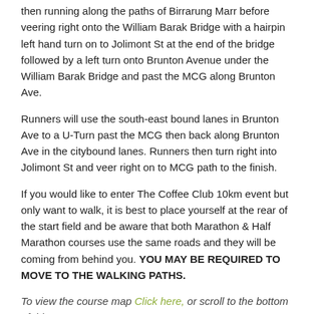then running along the paths of Birrarung Marr before veering right onto the William Barak Bridge with a hairpin left hand turn on to Jolimont St at the end of the bridge followed by a left turn onto Brunton Avenue under the William Barak Bridge and past the MCG along Brunton Ave.
Runners will use the south-east bound lanes in Brunton Ave to a U-Turn past the MCG then back along Brunton Ave in the citybound lanes. Runners then turn right into Jolimont St and veer right on to MCG path to the finish.
If you would like to enter The Coffee Club 10km event but only want to walk, it is best to place yourself at the rear of the start field and be aware that both Marathon & Half Marathon courses use the same roads and they will be coming from behind you. YOU MAY BE REQUIRED TO MOVE TO THE WALKING PATHS.
To view the course map Click here, or scroll to the bottom of this page
All runners and walkers need to register via the Melbourne Marathon website — click here.